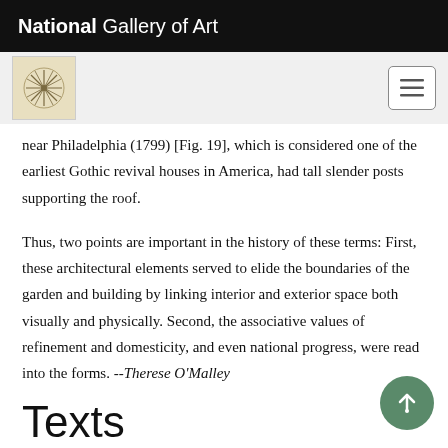National Gallery of Art
near Philadelphia (1799) [Fig. 19], which is considered one of the earliest Gothic revival houses in America, had tall slender posts supporting the roof.
Thus, two points are important in the history of these terms: First, these architectural elements served to elide the boundaries of the garden and building by linking interior and exterior space both visually and physically. Second, the associative values of refinement and domesticity, and even national progress, were read into the forms. --Therese O'Malley
Texts